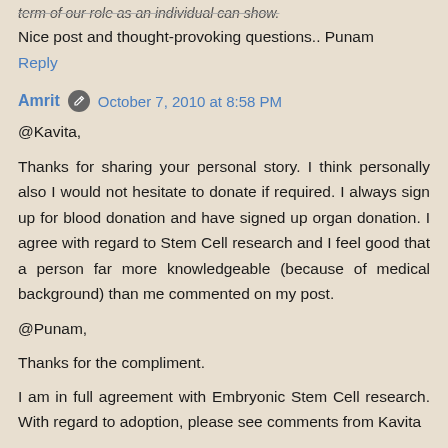term of our role as an individual can show.
Nice post and thought-provoking questions.. Punam
Reply
Amrit  October 7, 2010 at 8:58 PM
@Kavita,
Thanks for sharing your personal story. I think personally also I would not hesitate to donate if required. I always sign up for blood donation and have signed up organ donation. I agree with regard to Stem Cell research and I feel good that a person far more knowledgeable (because of medical background) than me commented on my post.
@Punam,
Thanks for the compliment.
I am in full agreement with Embryonic Stem Cell research. With regard to adoption, please see comments from Kavita